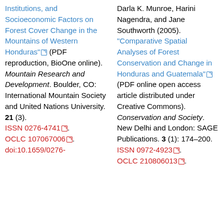Institutions, and Socioeconomic Factors on Forest Cover Change in the Mountains of Western Honduras" (PDF reproduction, BioOne online). Mountain Research and Development. Boulder, CO: International Mountain Society and United Nations University. 21 (3). ISSN 0276-4741. OCLC 107067006. doi:10.1659/0276-
Darla K. Munroe, Harini Nagendra, and Jane Southworth (2005). "Comparative Spatial Analyses of Forest Conservation and Change in Honduras and Guatemala" (PDF online open access article distributed under Creative Commons). Conservation and Society. New Delhi and London: SAGE Publications. 3 (1): 174–200. ISSN 0972-4923. OCLC 210806013.